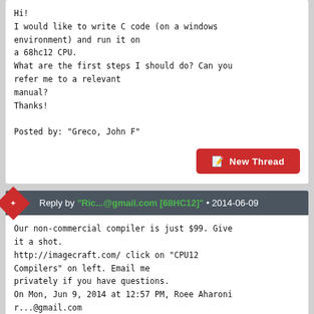Hi!
I would like to write C code (on a windows environment) and run it on
a 68hc12 CPU.
What are the first steps I should do? Can you refer me to a relevant
manual?
Thanks!

Posted by: "Greco, John F"
Reply by "Ric...@gmail.com [68HC12]" • 2014-06-09
Our non-commercial compiler is just $99. Give it a shot.
http://imagecraft.com/ click on "CPU12 Compilers" on left. Email me privately if you have questions.
On Mon, Jun 9, 2014 at 12:57 PM, Roee Aharoni r...@gmail.com
[cpu012] <o...